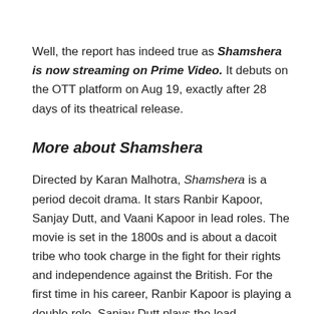Well, the report has indeed true as Shamshera is now streaming on Prime Video. It debuts on the OTT platform on Aug 19, exactly after 28 days of its theatrical release.
More about Shamshera
Directed by Karan Malhotra, Shamshera is a period decoit drama. It stars Ranbir Kapoor, Sanjay Dutt, and Vaani Kapoor in lead roles. The movie is set in the 1800s and is about a dacoit tribe who took charge in the fight for their rights and independence against the British. For the first time in his career, Ranbir Kapoor is playing a double role. Sanjay Dutt plays the lead antagonist Shuddh Singh.
Related Content